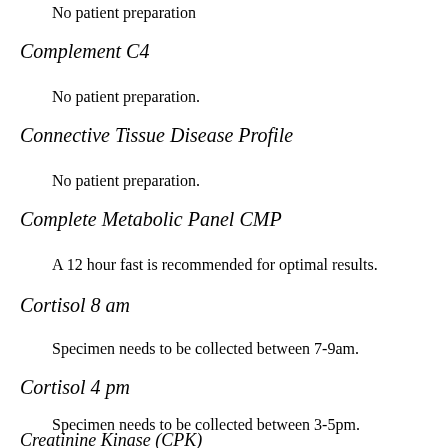No patient preparation
Complement C4
No patient preparation.
Connective Tissue Disease Profile
No patient preparation.
Complete Metabolic Panel CMP
A 12 hour fast is recommended for optimal results.
Cortisol 8 am
Specimen needs to be collected between 7-9am.
Cortisol 4 pm
Specimen needs to be collected between 3-5pm.
Creatinine Kinase (CPK)